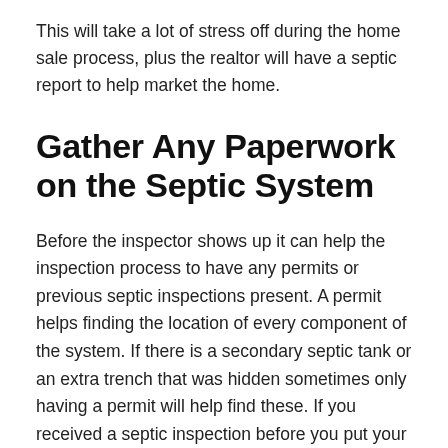This will take a lot of stress off during the home sale process, plus the realtor will have a septic report to help market the home.
Gather Any Paperwork on the Septic System
Before the inspector shows up it can help the inspection process to have any permits or previous septic inspections present. A permit helps finding the location of every component of the system. If there is a secondary septic tank or an extra trench that was hidden sometimes only having a permit will help find these. If you received a septic inspection before you put your house on the market, or you have an inspection from when you sold your home hold on to that